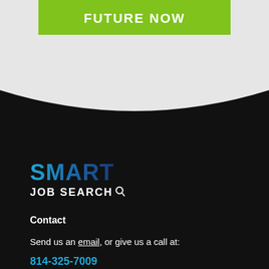[Figure (other): Green button with white bold uppercase text reading 'FUTURE NOW' on a light gray background]
[Figure (logo): Smart Job Search logo: 'SMART' in blue gradient bold letters, 'JOB SEARCH' in white bold letters with magnifier icon, on black background]
Contact
Send us an email, or give us a call at:
814-325-7009